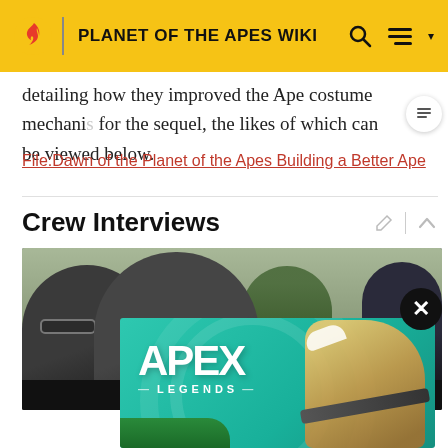PLANET OF THE APES WIKI
detailing how they improved the Ape costume mechanics for the sequel, the likes of which can be viewed below.
File:Dawn of the Planet of the Apes Building a Better Ape
Crew Interviews
[Figure (photo): Video thumbnail showing crew interview with people visible in foreground against outdoor background]
[Figure (other): Apex Legends advertisement banner with teal/green background featuring game character with sniper rifle and APEX LEGENDS logo]